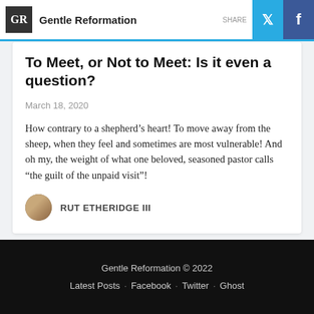Gentle Reformation
To Meet, or Not to Meet: Is it even a question?
March 18, 2020
How contrary to a shepherd’s heart! To move away from the sheep, when they feel and sometimes are most vulnerable! And oh my, the weight of what one beloved, seasoned pastor calls “the guilt of the unpaid visit”!
RUT ETHERIDGE III
Gentle Reformation © 2022
Latest Posts · Facebook · Twitter · Ghost